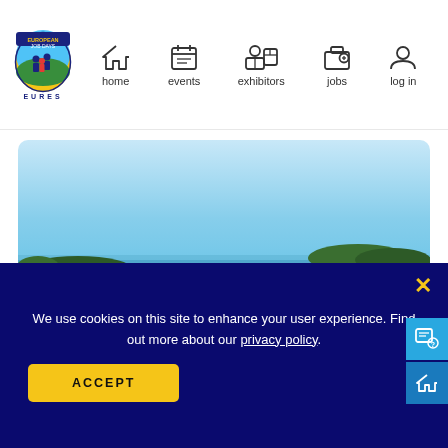[Figure (logo): European Job Days EURES logo - circular emblem with figures and text, yellow and blue colors]
home   events   exhibitors   jobs   log in
[Figure (photo): Aerial or elevated view of a large blue lake or sea with small islands covered in trees, sailboats on the water, clear blue sky above. A scenic Finnish or Nordic waterscape.]
We use cookies on this site to enhance your user experience. Find out more about our privacy policy.
ACCEPT